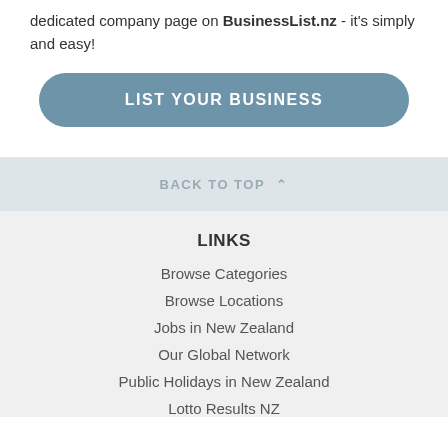dedicated company page on BusinessList.nz - it's simply and easy!
LIST YOUR BUSINESS
BACK TO TOP ▲
LINKS
Browse Categories
Browse Locations
Jobs in New Zealand
Our Global Network
Public Holidays in New Zealand
Lotto Results NZ